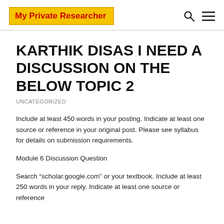My Private Researcher
KARTHIK DISAS I NEED A DISCUSSION ON THE BELOW TOPIC 2
UNCATEGORIZED
Include at least 450 words in your posting. Indicate at least one source or reference in your original post. Please see syllabus for details on submission requirements.
Module 6 Discussion Question
Search “scholar.google.com” or your textbook. Include at least 250 words in your reply. Indicate at least one source or reference